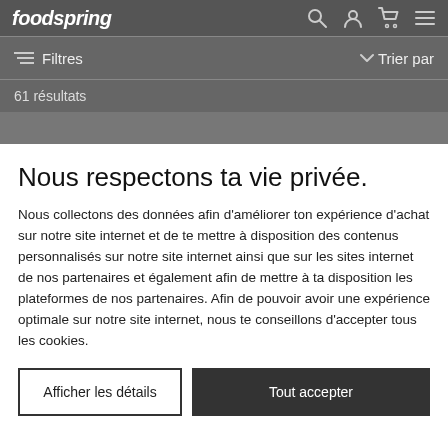foodspring
Filtres   Trier par
61 résultats
Nous respectons ta vie privée.
Nous collectons des données afin d'améliorer ton expérience d'achat sur notre site internet et de te mettre à disposition des contenus personnalisés sur notre site internet ainsi que sur les sites internet de nos partenaires et également afin de mettre à ta disposition les plateformes de nos partenaires. Afin de pouvoir avoir une expérience optimale sur notre site internet, nous te conseillons d'accepter tous les cookies.
Afficher les détails
Tout accepter